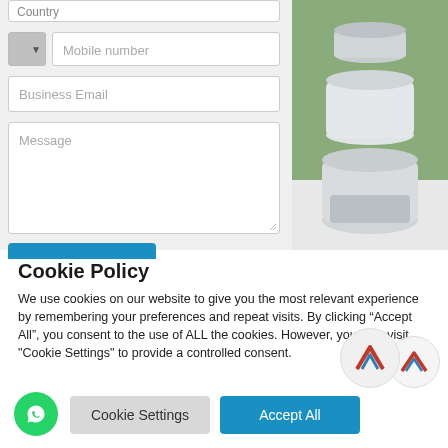[Figure (screenshot): Web form with Country field (partially visible at top), Mobile number field with flag/dropdown, Business Email field, and Message textarea. Right side shows a photo of stacked white travel cups on a white surface with green blurred background. A blue submit button is partially visible at the bottom.]
Cookie Policy
We use cookies on our website to give you the most relevant experience by remembering your preferences and repeat visits. By clicking “Accept All”, you consent to the use of ALL the cookies. However, you may visit "Cookie Settings" to provide a controlled consent.
[Figure (screenshot): Cookie banner buttons: green WhatsApp circle button on left, grey Cookie Settings button, blue Accept All button, and two overlapping circular logos with red/blue stylized M icons on the right.]